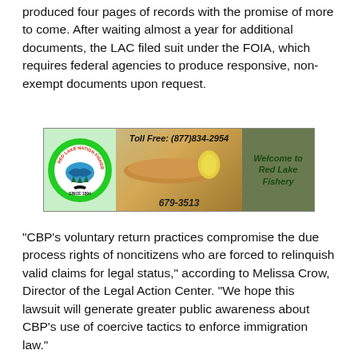produced four pages of records with the promise of more to come. After waiting almost a year for additional documents, the LAC filed suit under the FOIA, which requires federal agencies to produce responsive, non-exempt documents upon request.
[Figure (other): Red Lake Nation Fishery advertisement banner showing logo, fish dish photo, toll free number (877)834-2954, local number 679-3513, and 'Welcome to Red Lake Fishery' text]
“CBP’s voluntary return practices compromise the due process rights of noncitizens who are forced to relinquish valid claims for legal status,” according to Melissa Crow, Director of the Legal Action Center. “We hope this lawsuit will generate greater public awareness about CBP’s use of coercive tactics to enforce immigration law.”